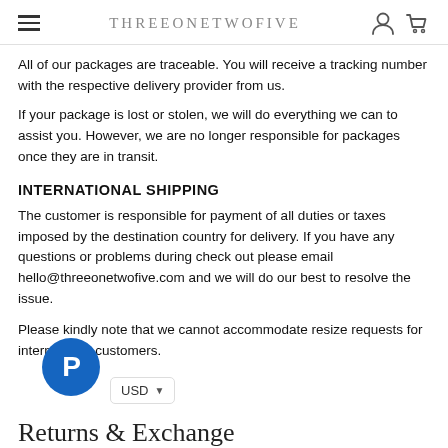THREEONETWOFIVE
All of our packages are traceable. You will receive a tracking number with the respective delivery provider from us.
If your package is lost or stolen, we will do everything we can to assist you. However, we are no longer responsible for packages once they are in transit.
INTERNATIONAL SHIPPING
The customer is responsible for payment of all duties or taxes imposed by the destination country for delivery. If you have any questions or problems during check out please email hello@threeonetwofive.com and we will do our best to resolve the issue.
Please kindly note that we cannot accommodate resize requests for international customers.
Returns & Exchange...